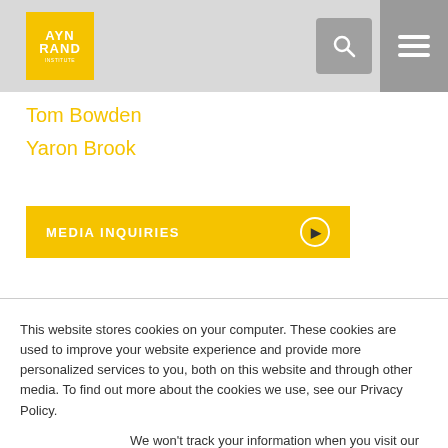[Figure (logo): Ayn Rand Institute logo - yellow square with AYN RAND INSTITUTE text in white]
Tom Bowden
Yaron Brook
MEDIA INQUIRIES
This website stores cookies on your computer. These cookies are used to improve your website experience and provide more personalized services to you, both on this website and through other media. To find out more about the cookies we use, see our Privacy Policy.
We won't track your information when you visit our site. But in order to comply with your preferences, we'll have to use just one tiny cookie so that you're not asked to make this choice again.
Accept
Decline